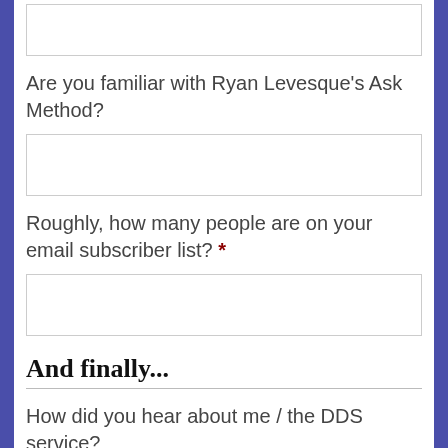[Figure (other): Input field (text box) at top of page, partially visible]
Are you familiar with Ryan Levesque's Ask Method?
[Figure (other): Input field (text box) for answer to Ryan Levesque question]
Roughly, how many people are on your email subscriber list? *
[Figure (other): Input field (text box) for email subscriber list count]
And finally...
How did you hear about me / the DDS service?
[Figure (other): Input field (text box) at bottom, partially visible]